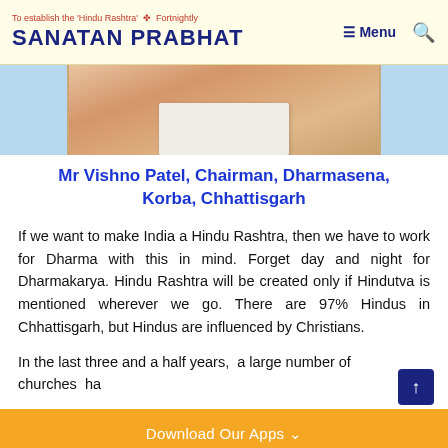To establish the 'Hindu Rashtra' Fortnightly | SANATAN PRABHAT
[Figure (photo): Partial photo of Mr Vishno Patel in orange attire holding a white board, against a light blue background]
Mr Vishno Patel, Chairman, Dharmasena, Korba, Chhattisgarh
If we want to make India a Hindu Rashtra, then we have to work for Dharma with this in mind. Forget day and night for Dharmakarya. Hindu Rashtra will be created only if Hindutva is mentioned wherever we go. There are 97% Hindus in Chhattisgarh, but Hindus are influenced by Christians.
In the last three and a half years, a large number of churches ha...